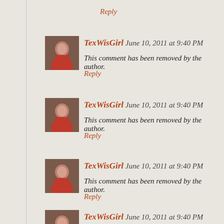Reply
[Figure (photo): Avatar photo of TexWisGirl - person in red]
TexWisGirl June 10, 2011 at 9:40 PM
This comment has been removed by the author.
Reply
[Figure (photo): Avatar photo of TexWisGirl - person in red]
TexWisGirl June 10, 2011 at 9:40 PM
This comment has been removed by the author.
Reply
[Figure (photo): Avatar photo of TexWisGirl - person in red]
TexWisGirl June 10, 2011 at 9:40 PM
This comment has been removed by the author.
Reply
[Figure (photo): Avatar photo of TexWisGirl - person in red]
TexWisGirl June 10, 2011 at 9:40 PM